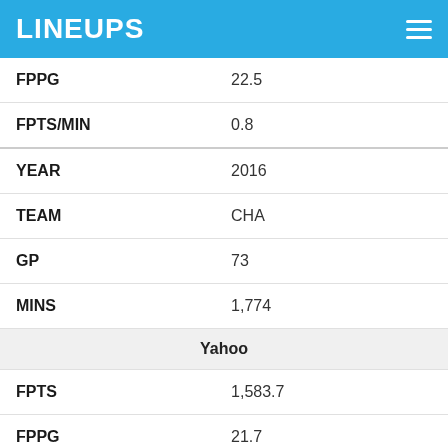LINEUPS
| Stat | Value |
| --- | --- |
| FPPG | 22.5 |
| FPTS/MIN | 0.8 |
| YEAR | 2016 |
| TEAM | CHA |
| GP | 73 |
| MINS | 1,774 |
| Yahoo |  |
| FPTS | 1,583.7 |
| FPPG | 21.7 |
| FPTS/MIN | 0.9 |
| DraftKings |  |
| FPTS | 1,528.5 |